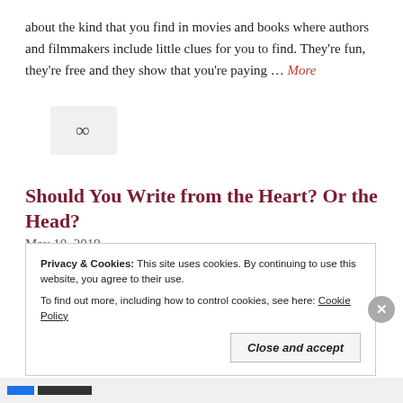about the kind that you find in movies and books where authors and filmmakers include little clues for you to find. They're fun, they're free and they show that you're paying … More
[Figure (other): Share/link icon in a grey box]
Should You Write from the Heart? Or the Head?
May 10, 2019
I'm in a fortunate position in that I don't have to rely on my writing as a primary source of income. Because of that, there's a
Privacy & Cookies: This site uses cookies. By continuing to use this website, you agree to their use. To find out more, including how to control cookies, see here: Cookie Policy
Close and accept